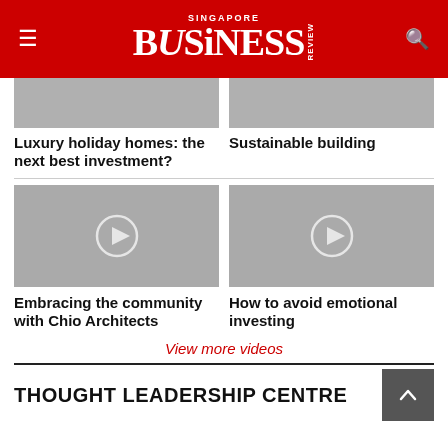Singapore Business Review
[Figure (screenshot): Cropped top of article thumbnail image (gray placeholder) for Luxury holiday homes article]
Luxury holiday homes: the next best investment?
[Figure (screenshot): Cropped top of article thumbnail image (gray placeholder) for Sustainable building article]
Sustainable building
[Figure (screenshot): Video thumbnail with play button for Embracing the community with Chio Architects]
Embracing the community with Chio Architects
[Figure (screenshot): Video thumbnail with play button for How to avoid emotional investing]
How to avoid emotional investing
View more videos
THOUGHT LEADERSHIP CENTRE